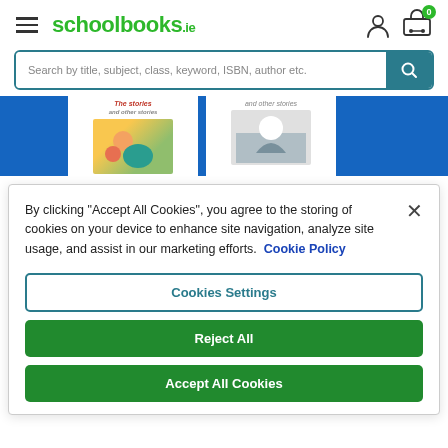schoolbooks.ie
[Figure (screenshot): Website header with hamburger menu, schoolbooks.ie logo, user account icon, and shopping cart with badge showing 0]
[Figure (screenshot): Search bar with placeholder text: Search by title, subject, class, keyword, ISBN, author etc. with teal search button]
[Figure (photo): Book banner showing blue book spines and illustrated children's book covers with text 'The stories and other stories']
By clicking "Accept All Cookies", you agree to the storing of cookies on your device to enhance site navigation, analyze site usage, and assist in our marketing efforts. Cookie Policy
Cookies Settings
Reject All
Accept All Cookies